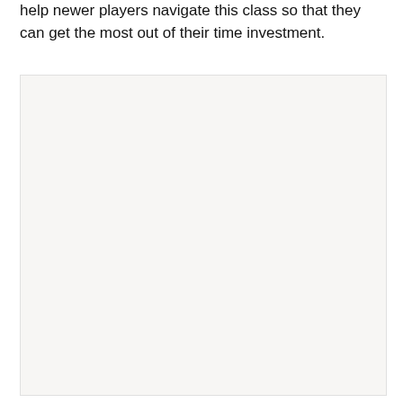help newer players navigate this class so that they can get the most out of their time investment.
[Figure (other): Large light-gray rectangular image placeholder area]